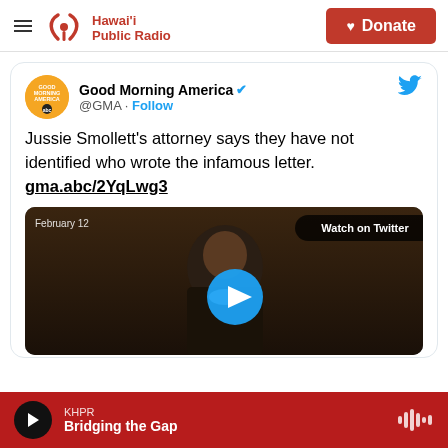Hawai'i Public Radio — Donate
[Figure (screenshot): Embedded tweet from @GMA (Good Morning America) with verified badge. Tweet text: 'Jussie Smollett's attorney says they have not identified who wrote the infamous letter. gma.abc/2YqLwg3'. Includes a video thumbnail showing a man (Jussie Smollett) with a 'Watch on Twitter' badge and blue play button. Date shown: February 12.]
KHPR — Bridging the Gap